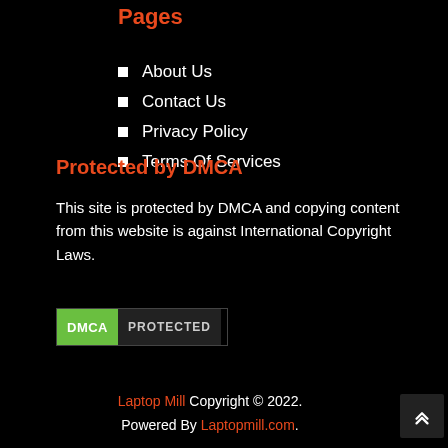Pages
About Us
Contact Us
Privacy Policy
Terms Of Services
Protected by DMCA
This site is protected by DMCA and copying content from this website is against International Copyright Laws.
[Figure (logo): DMCA PROTECTED badge with green left panel and dark right panel]
Laptop Mill Copyright © 2022. Powered By Laptopmill.com.